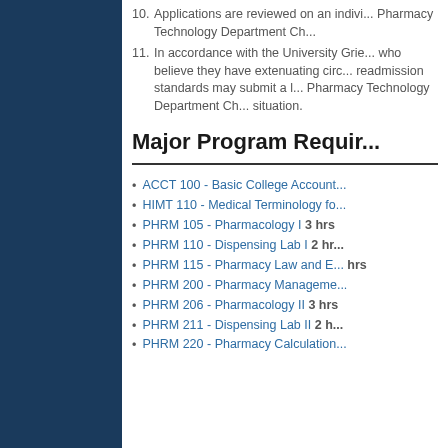10. Applications are reviewed on an individual basis by the Pharmacy Technology Department Ch...
11. In accordance with the University Grie... who believe they have extenuating circ... readmission standards may submit a l... Pharmacy Technology Department Ch... situation.
Major Program Requir...
ACCT 100 - Basic College Account...
HIMT 110 - Medical Terminology fo...
PHRM 105 - Pharmacology I 3 hrs
PHRM 110 - Dispensing Lab I 2 hr...
PHRM 115 - Pharmacy Law and E... hrs
PHRM 200 - Pharmacy Manageme...
PHRM 206 - Pharmacology II 3 hrs
PHRM 211 - Dispensing Lab II 2 h...
PHRM 220 - Pharmacy Calculation...